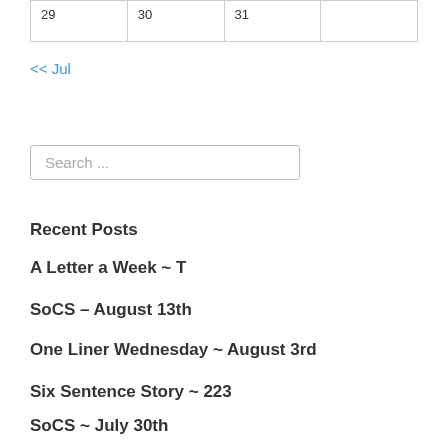| 29 | 30 | 31 |  |
<< Jul
Search ...
Recent Posts
A Letter a Week ~ T
SoCS – August 13th
One Liner Wednesday ~ August 3rd
Six Sentence Story ~ 223
SoCS ~ July 30th